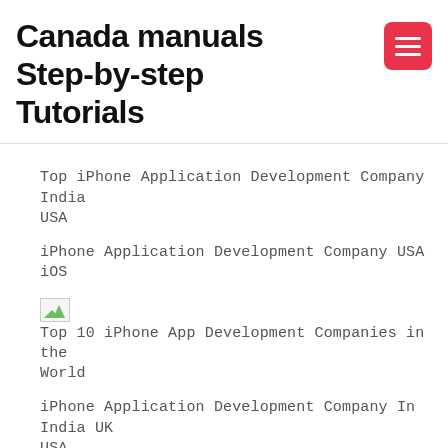Canada manuals Step-by-step Tutorials
Top iPhone Application Development Company India USA
iPhone Application Development Company USA iOS
[Figure (other): Broken image placeholder (small thumbnail)]
Top 10 iPhone App Development Companies in the World
iPhone Application Development Company In India UK USA
[Figure (other): Broken image placeholder (small thumbnail)]
IOS Application Development in USA iPhone Application
DzoApps Custom Mobile App Development Company in USA
[Figure (other): Broken image placeholder (small thumbnail)]
[Figure (other): Broken image placeholder (small thumbnail)]
Mobile App Development dominion dominion Application